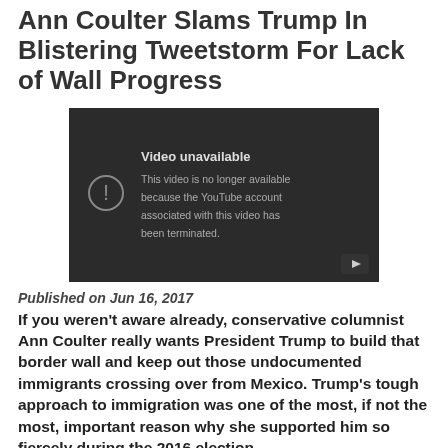Ann Coulter Slams Trump In Blistering Tweetstorm For Lack of Wall Progress
[Figure (screenshot): Embedded YouTube video player showing 'Video unavailable' message: 'This video is no longer available because the YouTube account associated with this video has been terminated.']
Published on Jun 16, 2017
If you weren't aware already, conservative columnist Ann Coulter really wants President Trump to build that border wall and keep out those undocumented immigrants crossing over from Mexico. Trump's tough approach to immigration was one of the most, if not the most, important reason why she supported him so fiercely during the 2016 election.